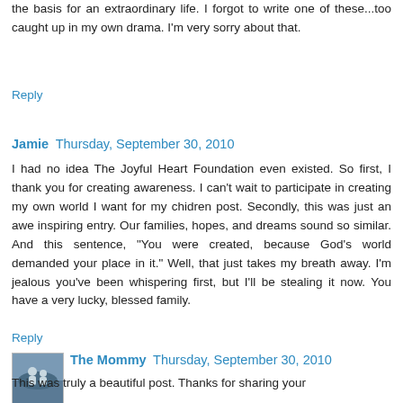the basis for an extraordinary life. I forgot to write one of these...too caught up in my own drama. I'm very sorry about that.
Reply
Jamie  Thursday, September 30, 2010
I had no idea The Joyful Heart Foundation even existed. So first, I thank you for creating awareness. I can't wait to participate in creating my own world I want for my chidren post. Secondly, this was just an awe inspiring entry. Our families, hopes, and dreams sound so similar. And this sentence, "You were created, because God's world demanded your place in it." Well, that just takes my breath away. I'm jealous you've been whispering first, but I'll be stealing it now. You have a very lucky, blessed family.
Reply
The Mommy  Thursday, September 30, 2010
This was truly a beautiful post. Thanks for sharing your